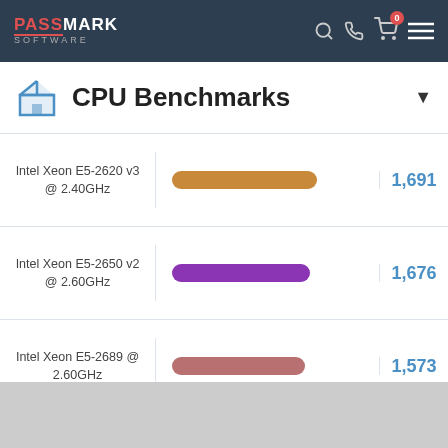PassMark Software
CPU Benchmarks
| CPU | Bar | Score |
| --- | --- | --- |
| Intel Xeon E5-2620 v3 @ 2.40GHz |  | 1,691 |
| Intel Xeon E5-2650 v2 @ 2.60GHz |  | 1,676 |
| Intel Xeon E5-2689 @ 2.60GHz |  | 1,573 |